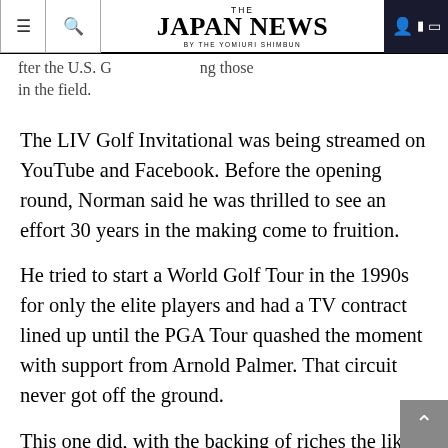THE JAPAN NEWS BY THE YOMIURI SHIMBUN
fter the U.S. G ng those in the field.
The LIV Golf Invitational was being streamed on YouTube and Facebook. Before the opening round, Norman said he was thrilled to see an effort 30 years in the making come to fruition.
He tried to start a World Golf Tour in the 1990s for only the elite players and had a TV contract lined up until the PGA Tour quashed the moment with support from Arnold Palmer. That circuit never got off the ground.
This one did, with the backing of riches the likes of which golf has never seen.